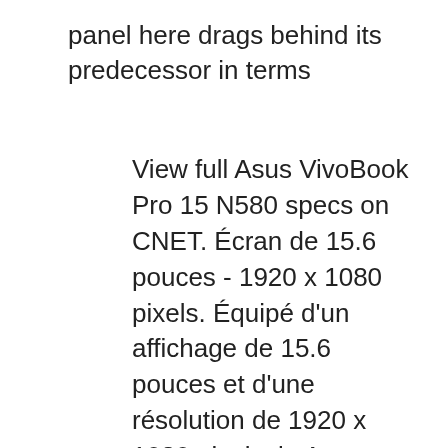panel here drags behind its predecessor in terms
View full Asus VivoBook Pro 15 N580 specs on CNET. Écran de 15.6 pouces - 1920 x 1080 pixels. Équipé d'un affichage de 15.6 pouces et d'une résolution de 1920 x 1080 pixels, le Asus VivoBook Pro 15 - N580VD-FZ473T vous offre un confort d'affichage sans précédent pour un large éventail d'activités. Son superbe écran tactile exploite la technologie IPS assurant des images éclatantes et des angles de vues jusqu'à 178°